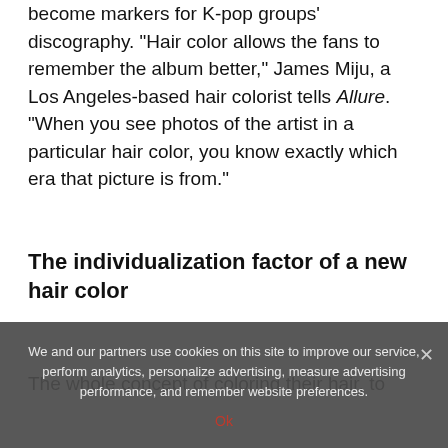become markers for K-pop groups' discography. "Hair color allows the fans to remember the album better," James Miju, a Los Angeles-based hair colorist tells Allure. "When you see photos of the artist in a particular hair color, you know exactly which era that picture is from."
The individualization factor of a new hair color
The whole concept of coloring their hair, to
We and our partners use cookies on this site to improve our service, perform analytics, personalize advertising, measure advertising performance, and remember website preferences.
Ok